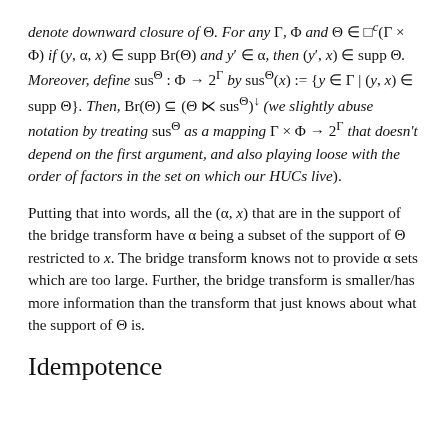denote downward closure of Θ. For any Γ, Φ and Θ ∈ □^c(Γ × Φ) if (y, α, x) ∈ supp Br(Θ) and y′ ∈ α, then (y′, x) ∈ supp Θ. Moreover, define sus^Θ : Φ → 2^Γ by sus^Θ(x) := {y ∈ Γ | (y, x) ∈ supp Θ}. Then, Br(Θ) ⊆ (Θ ⋉ sus^Θ)↓ (we slightly abuse notation by treating sus^Θ as a mapping Γ × Φ → 2^Γ that doesn't depend on the first argument, and also playing loose with the order of factors in the set on which our HUCs live).
Putting that into words, all the (α, x) that are in the support of the bridge transform have α being a subset of the support of Θ restricted to x. The bridge transform knows not to provide α sets which are too large. Further, the bridge transform is smaller/has more information than the transform that just knows about what the support of Θ is.
Idempotence